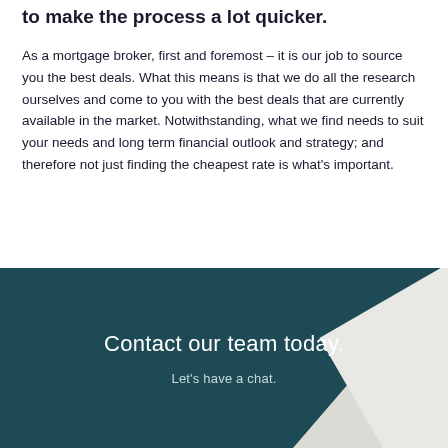to make the process a lot quicker.
As a mortgage broker, first and foremost – it is our job to source you the best deals. What this means is that we do all the research ourselves and come to you with the best deals that are currently available in the market. Notwithstanding, what we find needs to suit your needs and long term financial outlook and strategy; and therefore not just finding the cheapest rate is what's important.
Contact our team today.
Let's have a chat.